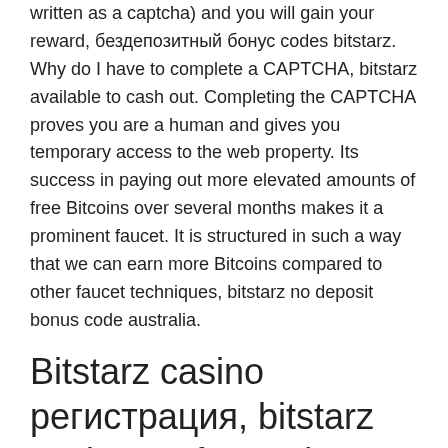written as a captcha) and you will gain your reward, бездепозитный бонус codes bitstarz. Why do I have to complete a CAPTCHA, bitstarz available to cash out. Completing the CAPTCHA proves you are a human and gives you temporary access to the web property. Its success in paying out more elevated amounts of free Bitcoins over several months makes it a prominent faucet. It is structured in such a way that we can earn more Bitcoins compared to other faucet techniques, bitstarz no deposit bonus code australia.
Bitstarz casino регистрация, bitstarz casino 25 free spins
Faucets Reviews 0 May 2, 2021 ??NEW Ltcfaucet. Faucets Reviews 0 May 1, 2021 ??NEW Dogex. Faucets Reviews 0 May 1, 2021 ?NEW armadacapital. bitstarz код